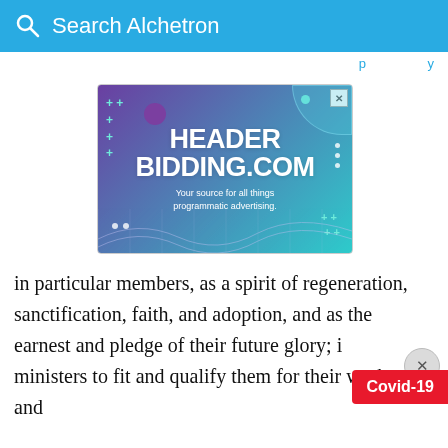Search Alchetron
[Figure (screenshot): Advertisement banner for HeaderBidding.com — gradient purple to teal background with text 'HEADER BIDDING.COM Your source for all things programmatic advertising.']
in particular members, as a spirit of regeneration, sanctification, faith, and adoption, and as the earnest and pledge of their future glory; i ministers to fit and qualify them for their work, and